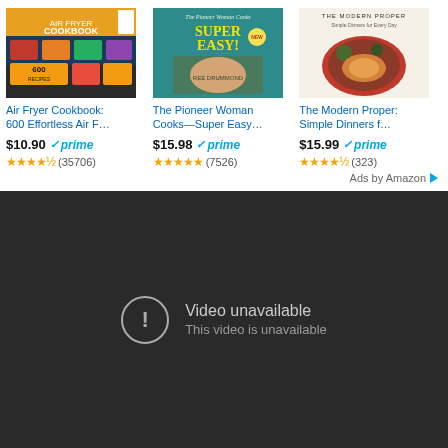[Figure (screenshot): Amazon ad showing three cookbook covers: Air Fryer Cookbook, The Pioneer Woman Cooks Super Easy, and The Modern Proper]
Air Fryer Cookbook: 600 Effortless Air F…
$10.90 ✓prime ★★★★½ (35706)
The Pioneer Woman Cooks—Super Easy…
$15.98 ✓prime ★★★★★ (7526)
The Modern Proper: Simple Dinners f…
$15.99 ✓prime ★★★★½ (323)
Ads by Amazon
[Figure (screenshot): Dark video player showing 'Video unavailable / This video is unavailable' message with circular exclamation icon]